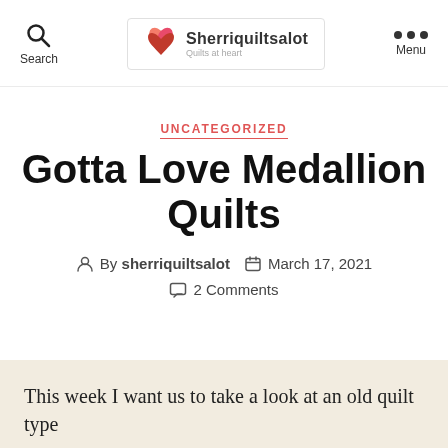Search | Sherriquiltsalot | Menu
UNCATEGORIZED
Gotta Love Medallion Quilts
By sherriquiltsalot   March 17, 2021   2 Comments
This week I want us to take a look at an old quilt type